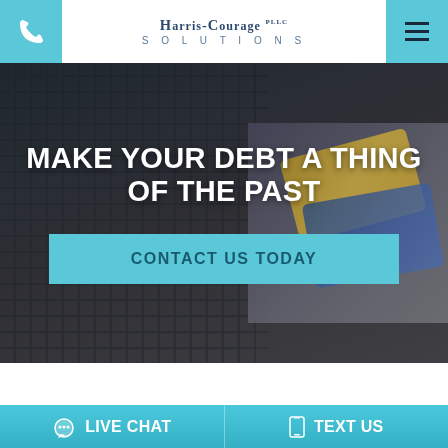[Figure (screenshot): Website header with phone icon button on left, Harris-Courage PLLC Solutions logo in center, and hamburger menu button on right, all on white background]
[Figure (photo): Hero section with dark overlay on laptop keyboard and credit cards background image]
MAKE YOUR DEBT A THING OF THE PAST
CONTACT US TODAY
[Figure (photo): Partial view of a dark desk scene with phone and notebook with pen]
LIVE CHAT
TEXT US